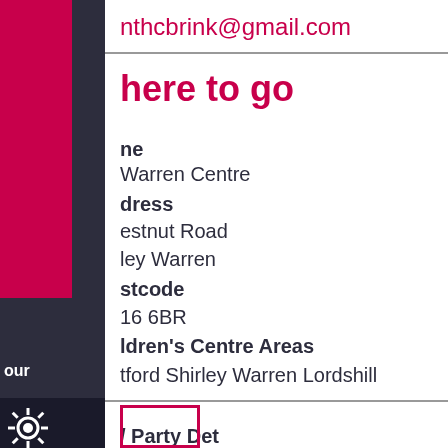nthcbrink@gmail.com
here to go
ne
Warren Centre
dress
estnut Road
ley Warren
stcode
16 6BR
ldren's Centre Areas
tford Shirley Warren Lordshill